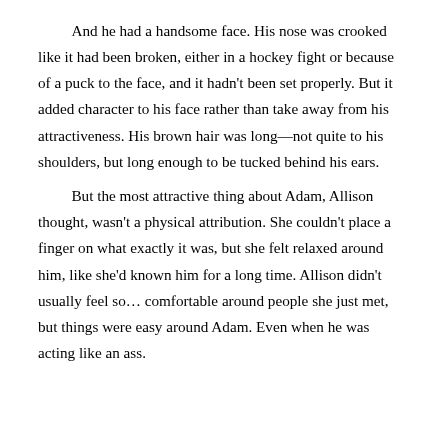And he had a handsome face. His nose was crooked like it had been broken, either in a hockey fight or because of a puck to the face, and it hadn't been set properly. But it added character to his face rather than take away from his attractiveness. His brown hair was long—not quite to his shoulders, but long enough to be tucked behind his ears.

But the most attractive thing about Adam, Allison thought, wasn't a physical attribution. She couldn't place a finger on what exactly it was, but she felt relaxed around him, like she'd known him for a long time. Allison didn't usually feel so… comfortable around people she just met, but things were easy around Adam. Even when he was acting like an ass.